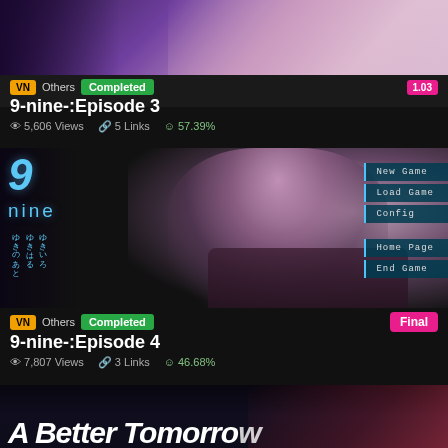[Figure (screenshot): Banner/thumbnail for 9-nine-:Episode 3 visual novel showing anime artwork]
VN | Others | Completed | 1.03
9-nine-:Episode 3
5,606 Views  5 Links  57.39%
[Figure (screenshot): Banner/thumbnail for 9-nine-:Episode 4 visual novel game menu screen with anime character sitting in chair, menu options: New Game, Load Game, Config, Home Page, End Game]
VN | Others | Completed | Final
9-nine-:Episode 4
7,807 Views  3 Links  46.68%
[Figure (screenshot): Partial banner for another visual novel 'A Better Tomorrow' showing partial text at bottom]